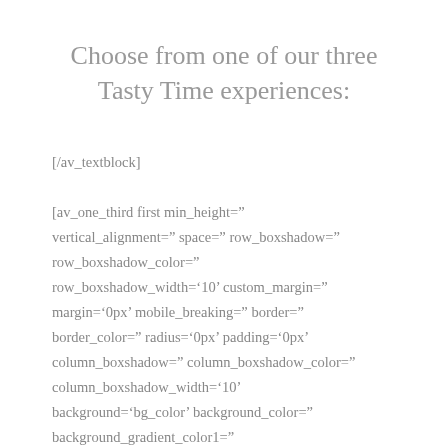Choose from one of our three Tasty Time experiences:
[/av_textblock]

[av_one_third first min_height='' vertical_alignment='' space='' row_boxshadow='' row_boxshadow_color='' row_boxshadow_width='10' custom_margin='' margin='0px' mobile_breaking='' border='' border_color='' radius='0px' padding='0px' column_boxshadow='' column_boxshadow_color='' column_boxshadow_width='10' background='bg_color' background_color='' background_gradient_color1=''